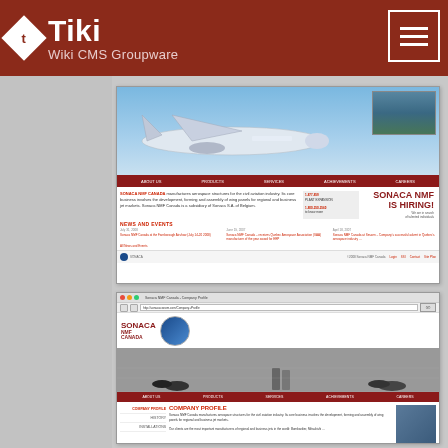Tiki Wiki CMS Groupware
[Figure (screenshot): Screenshot of SONACA NMF Canada aerospace company website homepage showing a jet aircraft banner, navigation menu (About Us, Products, Services, Achievements, Careers), company description text, contact information, NEWS AND EVENTS section with dated items, and a SONACA NMF IS HIRING promotional panel]
[Figure (screenshot): Screenshot of SONACA NMF Canada Company Profile page in a browser window showing the browser chrome with URL bar, SONACA NMF CANADA logo, a photo of workers' feet on a factory floor, red navigation bar (About Us, Products, Services, Achievements, Careers), left sidebar with COMPANY PROFILE, HISTORY, INSTALLATIONS menu items, and COMPANY PROFILE section text describing aerospace manufacturing]